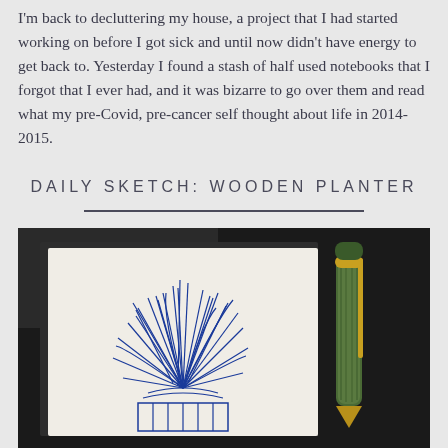I'm back to decluttering my house, a project that I had started working on before I got sick and until now didn't have energy to get back to. Yesterday I found a stash of half used notebooks that I forgot that I ever had, and it was bizarre to go over them and read what my pre-Covid, pre-cancer self thought about life in 2014-2015.
DAILY SKETCH: WOODEN PLANTER
[Figure (photo): A photo of an open sketchbook showing a blue ink drawing of spiky plants in a wooden planter, next to a green and gold fountain pen, on a dark background.]